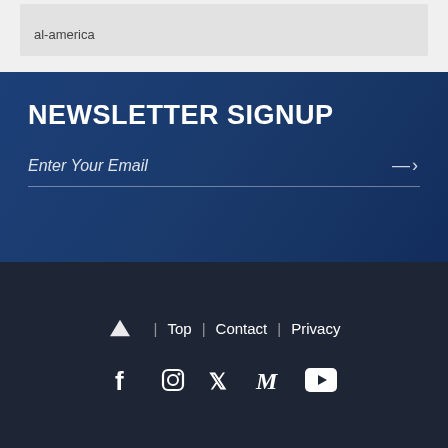al-america
NEWSLETTER SIGNUP
Enter Your Email
▲ | Top | Contact | Privacy
[Figure (infographic): Social media icons: Facebook, Instagram, Twitter, Medium, YouTube]